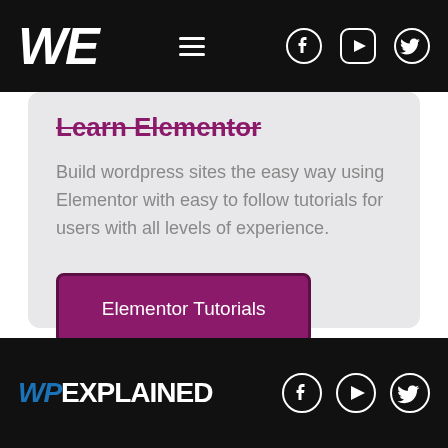WE (logo) with hamburger menu, Facebook, YouTube, Twitter icons
Learn Elementor
Build wordpress sites the easy way using Elementor with easy to follow tutorials for users with all levels of experience.
Elementor Tutorials
Elementor Pro Review
WPEXPLAINED with Facebook, YouTube, Twitter social icons